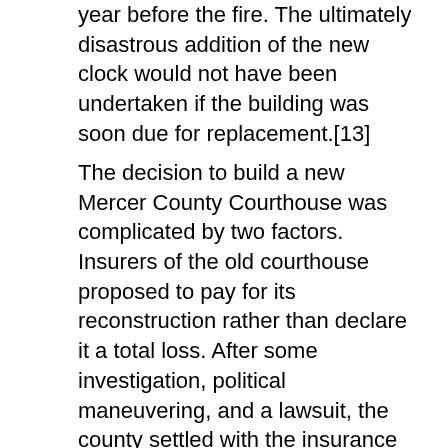year before the fire. The ultimately disastrous addition of the new clock would not have been undertaken if the building was soon due for replacement.[13]
The decision to build a new Mercer County Courthouse was complicated by two factors. Insurers of the old courthouse proposed to pay for its reconstruction rather than declare it a total loss. After some investigation, political maneuvering, and a lawsuit, the county settled with the insurance companies in 1909 for little more than the cost estimate of reconstructing the burned-out building. In retribution, the Mercer County cancelled its other contracts with those insurers. Immediately after the fire the larger municipalities in Mercer County lobbied to become the county seat. The borough of Mercer was intentionally located near the geographical center of the county. The county's population growth primarily occurred along the Shenango River, site of the Erie Extension Canal, built before the Civil War